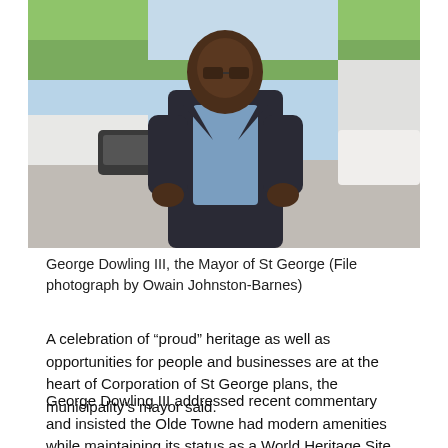[Figure (photo): George Dowling III, Mayor of St George, a heavyset Black man wearing glasses and a dark suit jacket over a blue checked shirt, standing outdoors in a parking area with trees and a white building in the background.]
George Dowling III, the Mayor of St George (File photograph by Owain Johnston-Barnes)
A celebration of “proud” heritage as well as opportunities for people and businesses are at the heart of Corporation of St George plans, the municipality’s mayor said.
George Dowling III addressed recent commentary and insisted the Olde Towne had modern amenities while maintaining its status as a World Heritage Site.
He said: “Receiving feedback is an integral part of running a